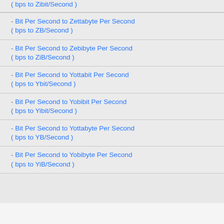- Bit Per Second to Zettabyte Per Second ( bps to ZB/Second )
- Bit Per Second to Zebibyte Per Second ( bps to ZiB/Second )
- Bit Per Second to Yottabit Per Second ( bps to Ybit/Second )
- Bit Per Second to Yobibit Per Second ( bps to Yibit/Second )
- Bit Per Second to Yottabyte Per Second ( bps to YB/Second )
- Bit Per Second to Yobibyte Per Second ( bps to YiB/Second )